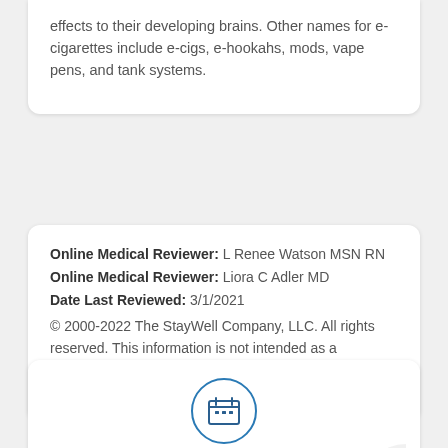effects to their developing brains. Other names for e-cigarettes include e-cigs, e-hookahs, mods, vape pens, and tank systems.
Online Medical Reviewer: L Renee Watson MSN RN
Online Medical Reviewer: Liora C Adler MD
Date Last Reviewed: 3/1/2021
© 2000-2022 The StayWell Company, LLC. All rights reserved. This information is not intended as a substitute for professional medical care. Always follow your healthcare professional's instructions.
[Figure (illustration): Calendar icon inside a circle, with 'Make an Appointment' text below in blue]